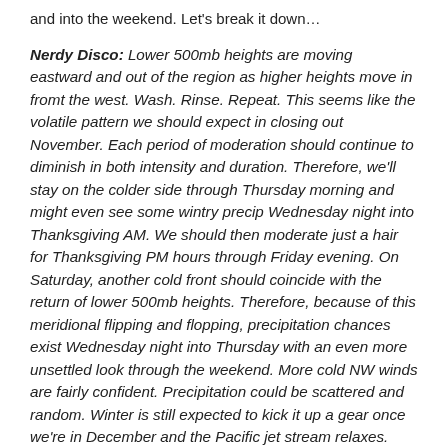and into the weekend. Let's break it down…
Nerdy Disco: Lower 500mb heights are moving eastward and out of the region as higher heights move in fromt the west. Wash. Rinse. Repeat. This seems like the volatile pattern we should expect in closing out November. Each period of moderation should continue to diminish in both intensity and duration. Therefore, we'll stay on the colder side through Thursday morning and might even see some wintry precip Wednesday night into Thanksgiving AM. We should then moderate just a hair for Thanksgiving PM hours through Friday evening. On Saturday, another cold front should coincide with the return of lower 500mb heights. Therefore, because of this meridional flipping and flopping, precipitation chances exist Wednesday night into Thursday with an even more unsettled look through the weekend. More cold NW winds are fairly confident. Precipitation could be scattered and random. Winter is still expected to kick it up a gear once we're in December and the Pacific jet stream relaxes. Once that happens, the colder air to our north will be allowed to sink down and set up our colder and snowier pattern. Until then we should continue the volatile pattern flops with shrinking periods of moderation and expanding periods of colder air mass.